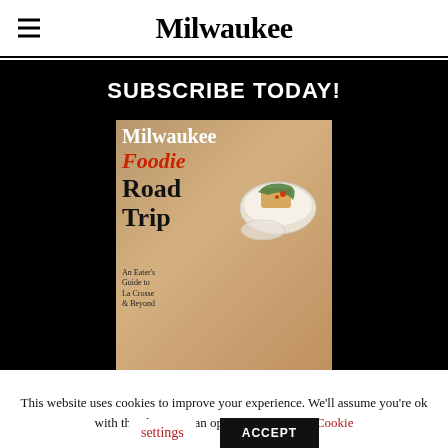Milwaukee
SUBSCRIBE TODAY!
[Figure (illustration): Milwaukee Magazine cover showing 'Milwaukee Foodie Road Trip' with food bowl image on wooden background]
This website uses cookies to improve your experience. We'll assume you're ok with this, but you can opt-out if you wish. Cookie settings ACCEPT